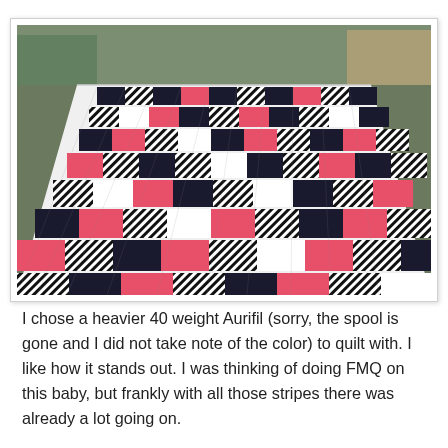[Figure (photo): A quilt laid out on a table, showing a geometric pattern with black, white/striped, pink/coral, and dark navy fabric squares arranged in a repeating cross and checker pattern. The photo is taken from an angle showing perspective depth.]
I chose a heavier 40 weight Aurifil (sorry, the spool is gone and I did not take note of the color) to quilt with. I like how it stands out. I was thinking of doing FMQ on this baby, but frankly with all those stripes there was already a lot going on.